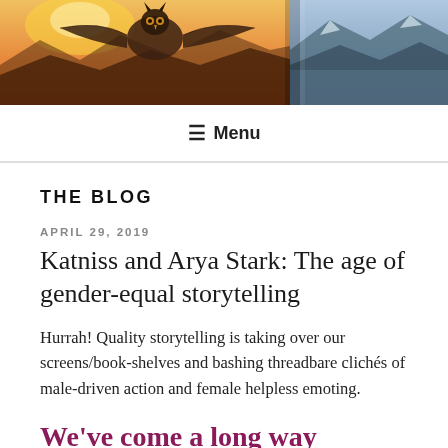[Figure (photo): Hero image showing a bird (possibly an eagle or owl) with dramatic sunset/mountain landscape background, split into two overlapping image panels]
≡ Menu
THE BLOG
APRIL 29, 2019
Katniss and Arya Stark: The age of gender-equal storytelling
Hurrah! Quality storytelling is taking over our screens/book-shelves and bashing threadbare clichés of male-driven action and female helpless emoting.
We've come a long way